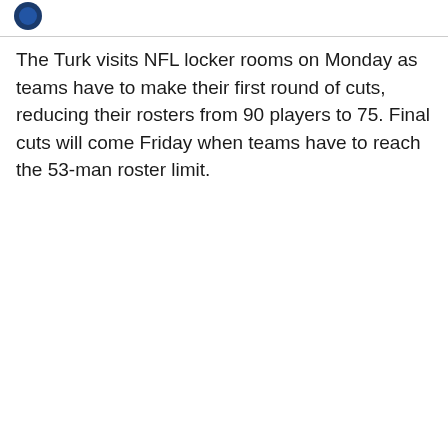[Figure (logo): Partial blue circular logo/icon visible at top left]
The Turk visits NFL locker rooms on Monday as teams have to make their first round of cuts, reducing their rosters from 90 players to 75. Final cuts will come Friday when teams have to reach the 53-man roster limit.